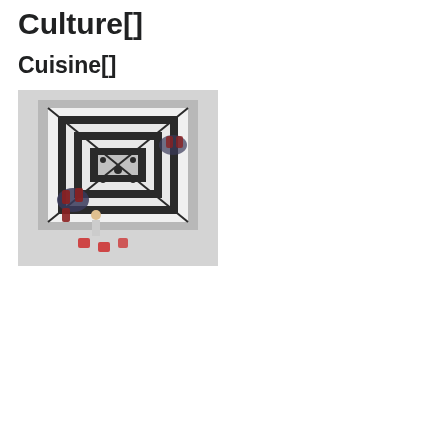Culture[]
Cuisine[]
[Figure (photo): Aerial view of the courtyard of Beit al-Agha restaurant, showing a black and white geometric patterned tiled floor with tables and chairs arranged around it.]
Courtyard of Beit al-Agha restaurant
Although people in Homs eat the same foods common in Levantine cuisine, the city is well known throughout Syria for its own cuisine. A prominent dish is Batarsh, a type of baba ghanouj made with yogurt and garlic instead of tahini.[114] Homs is also home to a variety of kibbeh mishwiyyeh or "grilled kibbeh". It consists of two pancakes of kibbeh stuffed with ground lamb, cooked with lamb fat and various spices.[115] Jazar Mahshi ("stuffed carrot") is native dish in Homs and is made of yellow carrot stuffed with minced lamb, rice.[116] The city specialises in cooking a type of okra meal, known as bamya bi-l zayt ("okra with olive oil").[117]